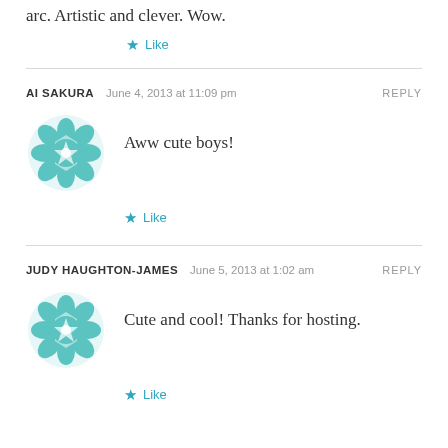arc. Artistic and clever. Wow.
★ Like
AI SAKURA   June 4, 2013 at 11:09 pm   REPLY
Aww cute boys!
★ Like
JUDY HAUGHTON-JAMES   June 5, 2013 at 1:02 am   REPLY
Cute and cool! Thanks for hosting.
★ Like